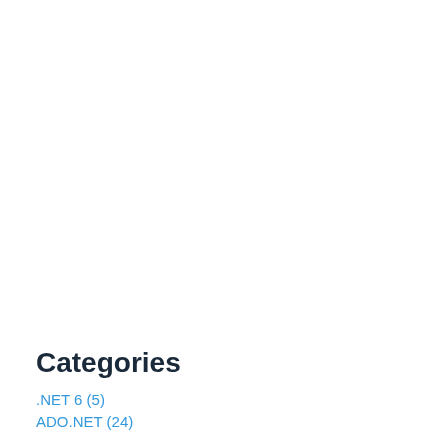Categories
.NET 6 (5)
ADO.NET (24)